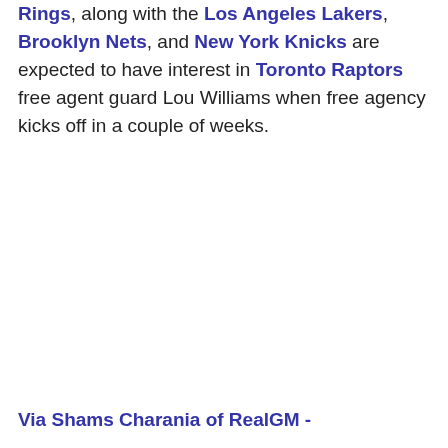Rings, along with the Los Angeles Lakers, Brooklyn Nets, and New York Knicks are expected to have interest in Toronto Raptors free agent guard Lou Williams when free agency kicks off in a couple of weeks.
Via Shams Charania of RealGM -